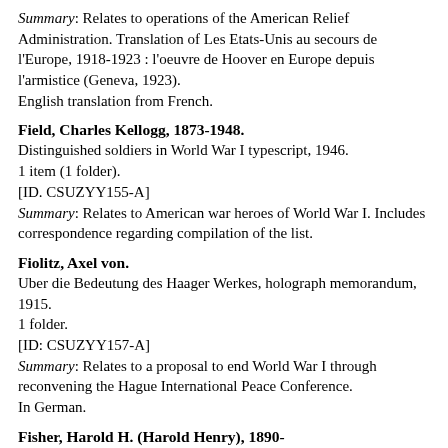Summary: Relates to operations of the American Relief Administration. Translation of Les Etats-Unis au secours de l'Europe, 1918-1923 : l'oeuvre de Hoover en Europe depuis l'armistice (Geneva, 1923).
English translation from French.
Field, Charles Kellogg, 1873-1948.
Distinguished soldiers in World War I typescript, 1946.
1 item (1 folder).
[ID. CSUZYY155-A]
Summary: Relates to American war heroes of World War I. Includes correspondence regarding compilation of the list.
Fiolitz, Axel von.
Uber die Bedeutung des Haager Werkes, holograph memorandum, 1915.
1 folder.
[ID: CSUZYY157-A]
Summary: Relates to a proposal to end World War I through reconvening the Hague International Peace Conference.
In German.
Fisher, Harold H. (Harold Henry), 1890-
Papers, 1917-1974.
33 ms. boxes, 44 card file boxes, 5 a rivelopes, 1 oversize box, I phono record.